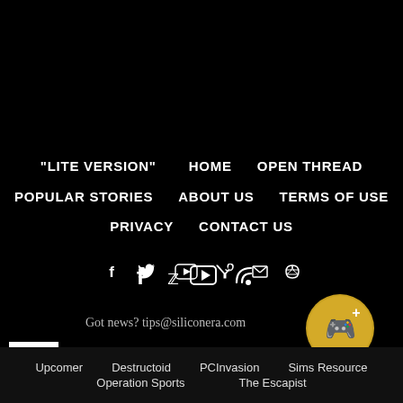“LITE VERSION”  HOME  OPEN THREAD  POPULAR STORIES  ABOUT US  TERMS OF USE  PRIVACY  CONTACT US
[Figure (infographic): Social media icons: Facebook, Twitter, YouTube, RSS]
Got news? tips@siliconera.com
[Figure (logo): Gold circular badge with game controller and plus icon]
[Figure (other): White square logo/box]
Upcomer  Destructoid  PCInvasion  Sims Resource  Operation Sports  The Escapist